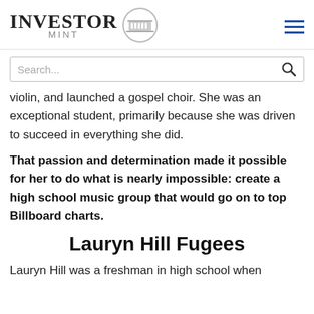INVESTOR MINT
violin, and launched a gospel choir. She was an exceptional student, primarily because she was driven to succeed in everything she did.
That passion and determination made it possible for her to do what is nearly impossible: create a high school music group that would go on to top Billboard charts.
Lauryn Hill Fugees
Lauryn Hill was a freshman in high school when